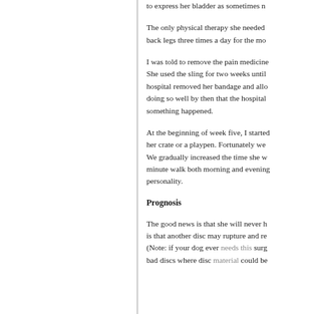to express her bladder as sometimes needed.
The only physical therapy she needed was to move her back legs three times a day for the mo...
I was told to remove the pain medicine... She used the sling for two weeks until... hospital removed her bandage and allo... doing so well by then that the hospital... something happened.
At the beginning of week five, I started... her crate or a playpen. Fortunately we... We gradually increased the time she w... minute walk both morning and evening... personality.
Prognosis
The good news is that she will never h... is that another disc may rupture and re... (Note: if your dog ever needs this surg... bad discs where disc material could be...